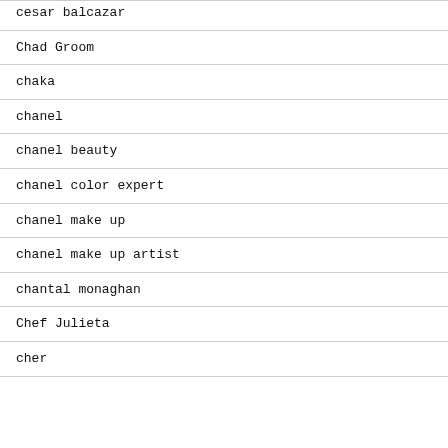cesar balcazar
Chad Groom
chaka
chanel
chanel beauty
chanel color expert
chanel make up
chanel make up artist
chantal monaghan
Chef Julieta
cher